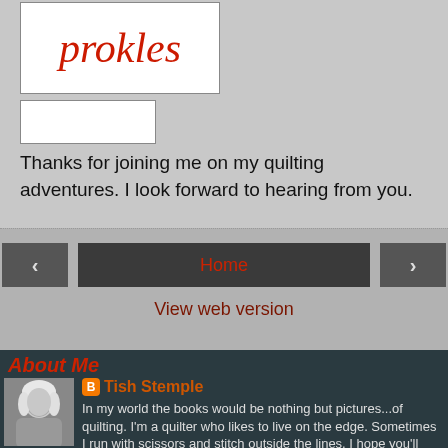[Figure (logo): Prokles logo in red italic serif font inside a white bordered box]
[Figure (other): Small empty white box below the logo]
Thanks for joining me on my quilting adventures. I look forward to hearing from you.
Home
View web version
About Me
[Figure (photo): Black and white portrait photo of a blonde woman]
Tish Stemple
In my world the books would be nothing but pictures...of quilting. I'm a quilter who likes to live on the edge. Sometimes I run with scissors and stitch outside the lines. I hope you'll join me on my quilting adventure, because we are all mad about quilting here.